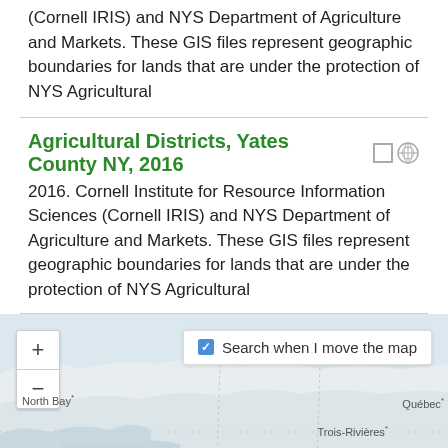(Cornell IRIS) and NYS Department of Agriculture and Markets. These GIS files represent geographic boundaries for lands that are under the protection of NYS Agricultural
Agricultural Districts, Yates County NY, 2016
2016. Cornell Institute for Resource Information Sciences (Cornell IRIS) and NYS Department of Agriculture and Markets. These GIS files represent geographic boundaries for lands that are under the protection of NYS Agricultural
[Figure (map): Interactive web map showing northeastern North America including Quebec, Trois-Rivières, North Bay, Ottawa, Montreal, and Vermont. Map has zoom in/out controls on the left and a 'Search when I move the map' checkbox on the upper right.]